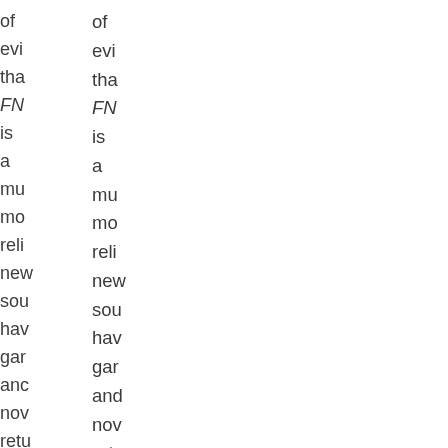of evidence that FN is a much more reliable news source have garnered and now returned the larger market including in view during